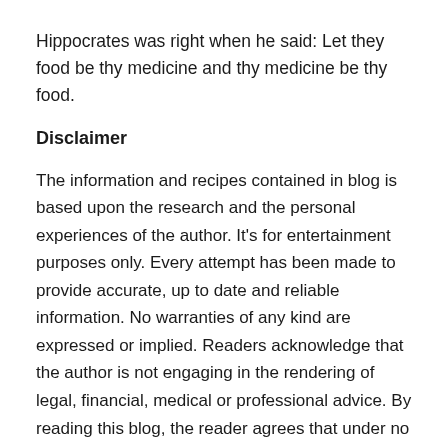Hippocrates was right when he said: Let they food be thy medicine and thy medicine be thy food.
Disclaimer
The information and recipes contained in blog is based upon the research and the personal experiences of the author. It’s for entertainment purposes only. Every attempt has been made to provide accurate, up to date and reliable information. No warranties of any kind are expressed or implied. Readers acknowledge that the author is not engaging in the rendering of legal, financial, medical or professional advice. By reading this blog, the reader agrees that under no circumstance the author is not responsible for any loss, direct or indirect, which are incurred by using this information contained within this blog. Including but not limited to errors, omissions or